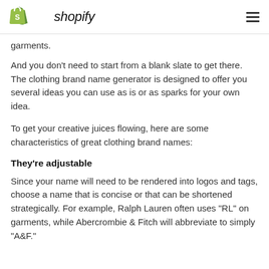shopify
garments.
And you don’t need to start from a blank slate to get there. The clothing brand name generator is designed to offer you several ideas you can use as is or as sparks for your own idea.
To get your creative juices flowing, here are some characteristics of great clothing brand names:
They’re adjustable
Since your name will need to be rendered into logos and tags, choose a name that is concise or that can be shortened strategically. For example, Ralph Lauren often uses “RL” on garments, while Abercrombie & Fitch will abbreviate to simply “A&F.”